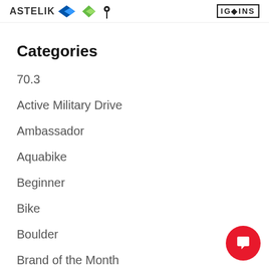[Figure (logo): Header logos: Astelix logo with blue K, blue shape, green shape, pin icon, and IG·INST bordered text logo on the right]
Categories
70.3
Active Military Drive
Ambassador
Aquabike
Beginner
Bike
Boulder
Brand of the Month
[Figure (other): Red circular chat/messenger button with white speech bubble icon, bottom right corner]